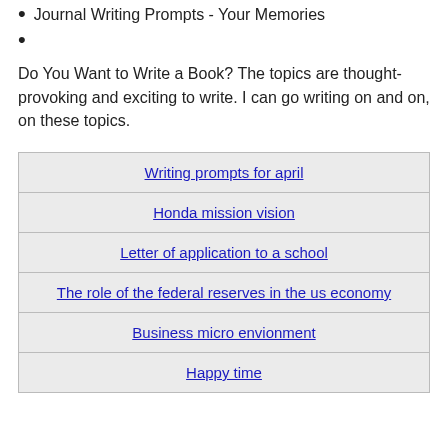Journal Writing Prompts - Your Memories
Do You Want to Write a Book? The topics are thought-provoking and exciting to write. I can go writing on and on, on these topics.
| Writing prompts for april |
| Honda mission vision |
| Letter of application to a school |
| The role of the federal reserves in the us economy |
| Business micro envionment |
| Happy time |